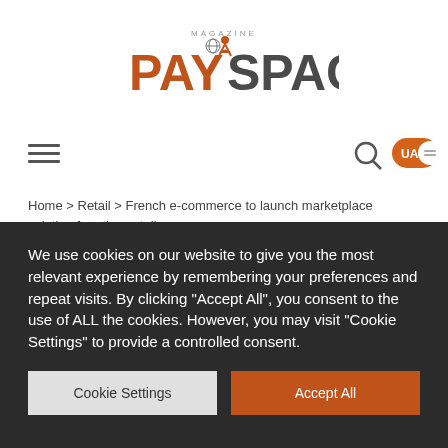[Figure (logo): PaySpace Magazine logo with orange PAY text, figure icon, and dark SPACE text, with MAGAZINE text above in small caps]
[Figure (infographic): Navigation bar with hamburger menu icon on left, search icon and UA language toggle (orange pill) on right]
Home > Retail > French e-commerce to launch marketplace solution for other retailers
French e-commerce to
We use cookies on our website to give you the most relevant experience by remembering your preferences and repeat visits. By clicking "Accept All", you consent to the use of ALL the cookies. However, you may visit "Cookie Settings" to provide a controlled consent.
Cookie Settings | Accept All